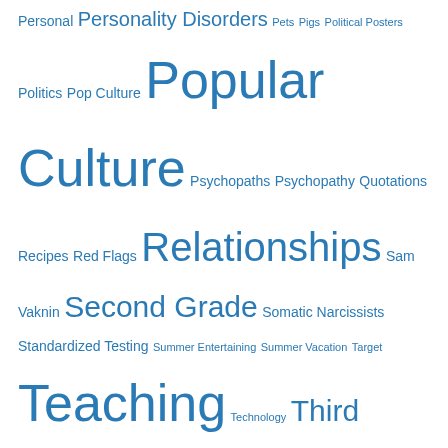Personal Personality Disorders Pets Pigs Political Posters Politics Pop Culture Popular Culture Psychopaths Psychopathy Quotations Recipes Red Flags Relationships Sam Vaknin Second Grade Somatic Narcissists Standardized Testing Summer Entertaining Summer Vacation Target Teaching Technology Third Grade Transgender Travel Urban Dictionary
All Things NPD
Baggage Reclaim
Dating a Personality (Disorder)
Elisse Stuart
halcyon
In the Net – Stories of Life and Narcissistic Survival
Lisa E. Scott
Narcissists Suck